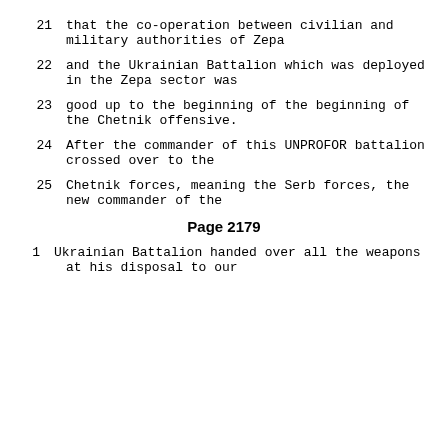21     that the co-operation between civilian and military authorities of Zepa
22     and the Ukrainian Battalion which was deployed in the Zepa sector was
23     good up to the beginning of the beginning of the Chetnik offensive.
24     After the commander of this UNPROFOR battalion crossed over to the
25     Chetnik forces, meaning the Serb forces, the new commander of the
Page 2179
1      Ukrainian Battalion handed over all the weapons at his disposal to our